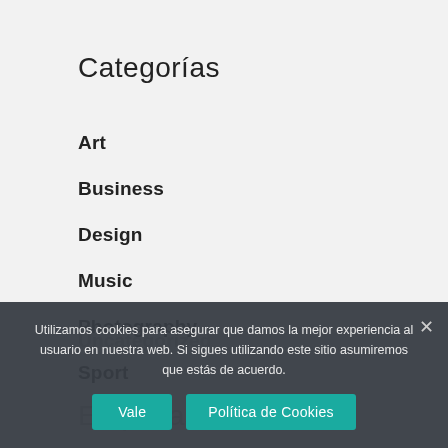Categorías
Art
Business
Design
Music
Photography
Sport
Uncategorized
Etiquetas
Utilizamos cookies para asegurar que damos la mejor experiencia al usuario en nuestra web. Si sigues utilizando este sitio asumiremos que estás de acuerdo.
Vale
Política de Cookies